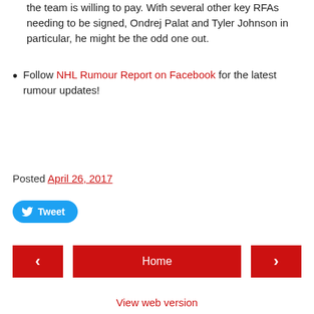the team is willing to pay. With several other key RFAs needing to be signed, Ondrej Palat and Tyler Johnson in particular, he might be the odd one out.
Follow NHL Rumour Report on Facebook for the latest rumour updates!
Posted April 26, 2017
[Figure (other): Tweet button with Twitter bird icon]
< (previous navigation) | Home | > (next navigation)
View web version